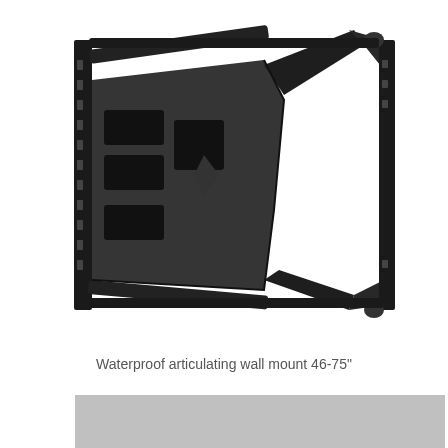[Figure (photo): A black articulating TV wall mount bracket for 46-75 inch TVs, shown at an angle displaying the arm extension mechanism and mounting plate]
Waterproof articulating wall mount 46-75"
[Figure (photo): Gray rectangle placeholder image (second product image area)]